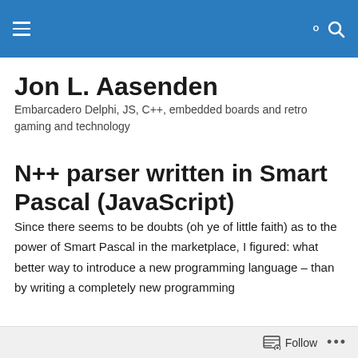Jon L. Aasenden
Embarcadero Delphi, JS, C++, embedded boards and retro gaming and technology
N++ parser written in Smart Pascal (JavaScript)
Since there seems to be doubts (oh ye of little faith) as to the power of Smart Pascal in the marketplace, I figured: what better way to introduce a new programming language – than by writing a completely new programming
Follow •••